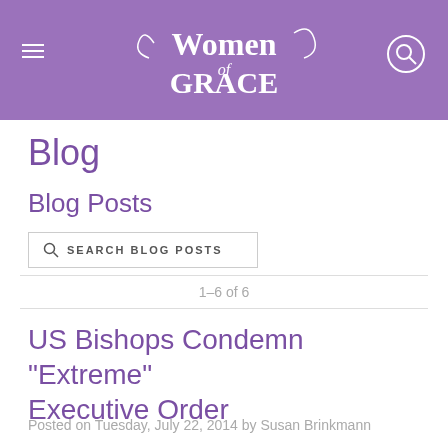Women of Grace
Blog
Blog Posts
SEARCH BLOG POSTS
1–6 of 6
US Bishops Condemn "Extreme" Executive Order
Posted on Tuesday, July 22, 2014 by Susan Brinkmann